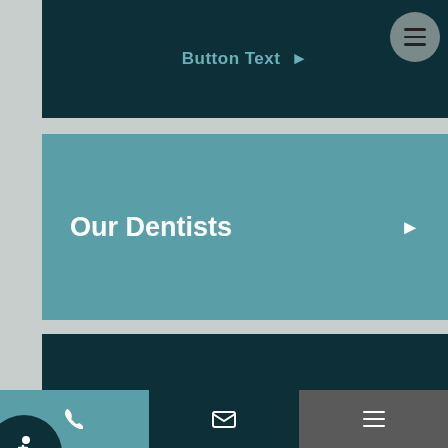Button Text ▶
Our Dentists
Our Team
We Are Accepting New Patients
Our dentists at Aronson Dental &